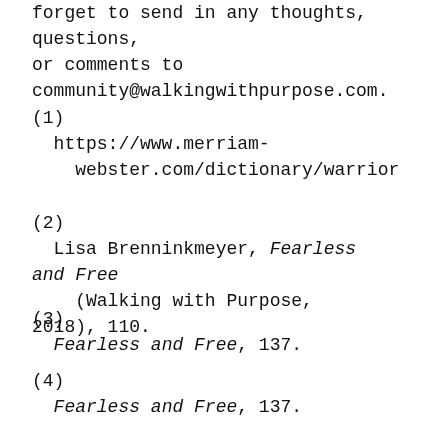forget to send in any thoughts, questions, or comments to community@walkingwithpurpose.com.
(1)  https://www.merriam-webster.com/dictionary/warrior
(2)  Lisa Brenninkmeyer, Fearless and Free (Walking with Purpose, 2018), 110.
(3)  Fearless and Free, 137.
(4)  Fearless and Free, 137.